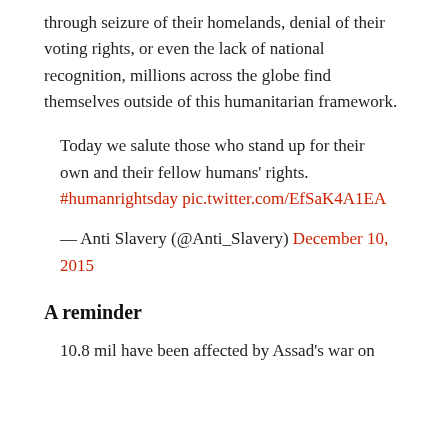through seizure of their homelands, denial of their voting rights, or even the lack of national recognition, millions across the globe find themselves outside of this humanitarian framework.
Today we salute those who stand up for their own and their fellow humans' rights. #humanrightsday pic.twitter.com/EfSaK4A1EA
— Anti Slavery (@Anti_Slavery) December 10, 2015
A reminder
10.8 mil have been affected by Assad's war on